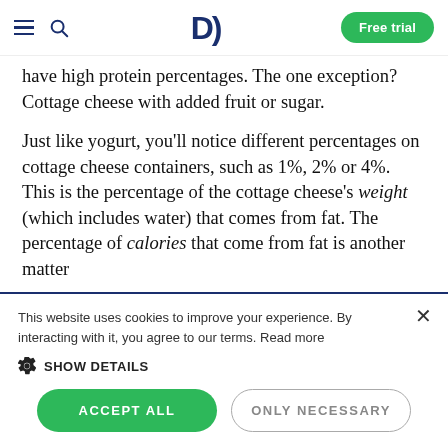D | Free trial
have high protein percentages. The one exception? Cottage cheese with added fruit or sugar.
Just like yogurt, you'll notice different percentages on cottage cheese containers, such as 1%, 2% or 4%. This is the percentage of the cottage cheese's weight (which includes water) that comes from fat. The percentage of calories that come from fat is another matter
This website uses cookies to improve your experience. By interacting with it, you agree to our terms. Read more
SHOW DETAILS
ACCEPT ALL
ONLY NECESSARY